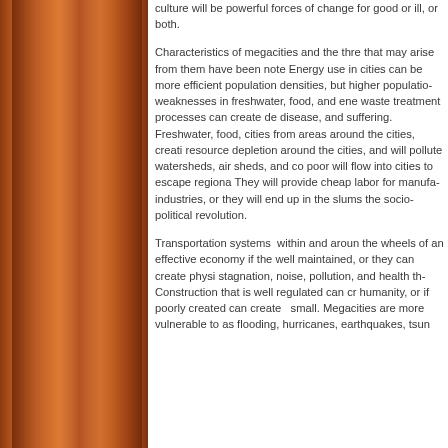[Figure (illustration): Decorative wooden sidebar/panel on the left side of the page with warm orange-brown wood grain texture]
culture will be powerful forces of change for good or ill, or both.

Characteristics of megacities and the threats that may arise from them have been noted. Energy use in cities can be more efficient at high population densities, but higher population weaknesses in freshwater, food, and energy and waste treatment processes can create death, disease, and suffering. Freshwater, food, and cities from areas around the cities, creating resource depletion around the cities, and cities will pollute watersheds, air sheds, and co. The poor will flow into cities to escape regional. They will provide cheap labor for manufacturing industries, or they will end up in the slums the socio-political revolution.

Transportation systems within and around the wheels of an effective economy if they are well maintained, or they can create physical stagnation, noise, pollution, and health. Construction that is well regulated can create humanity, or if poorly created can create small. Megacities are more vulnerable to as flooding, hurricanes, earthquakes, tsun